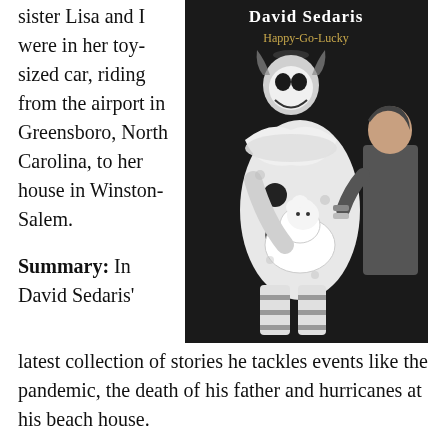sister Lisa and I were in her toy-sized car, riding from the airport in Greensboro, North Carolina, to her house in Winston-Salem.
[Figure (photo): Black and white photo of the book cover for 'Happy-Go-Lucky' by David Sedaris. The cover shows a clown in a polka-dot costume holding a white poodle, with a young girl standing to the right looking at the clown. The author's name 'David Sedaris' appears at the top in white text, and the title 'Happy-Go-Lucky' appears in gold/yellow text below it.]
Summary: In David Sedaris' latest collection of stories he tackles events like the pandemic, the death of his father and hurricanes at his beach house.
My Thoughts: As with most of his other books I was laughing through much of it. He can bring